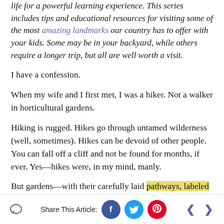life for a powerful learning experience. This series includes tips and educational resources for visiting some of the most amazing landmarks our country has to offer with your kids. Some may be in your backyard, while others require a longer trip, but all are well worth a visit.
I have a confession.
When my wife and I first met, I was a hiker. Not a walker in horticultural gardens.
Hiking is rugged. Hikes go through untamed wilderness (well, sometimes). Hikes can be devoid of other people. You can fall off a cliff and not be found for months, if ever. Yes—hikes were, in my mind, manly.
But gardens—with their carefully laid pathways, labeled stands of trees and flowers.
Share This Article: [Facebook] [Twitter] [Pinterest]